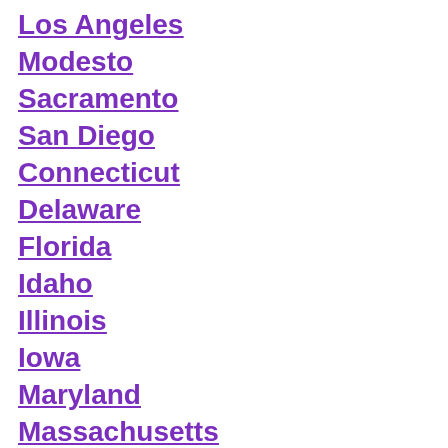Los Angeles
Modesto
Sacramento
San Diego
Connecticut
Delaware
Florida
Idaho
Illinois
Iowa
Maryland
Massachusetts
Minnesota